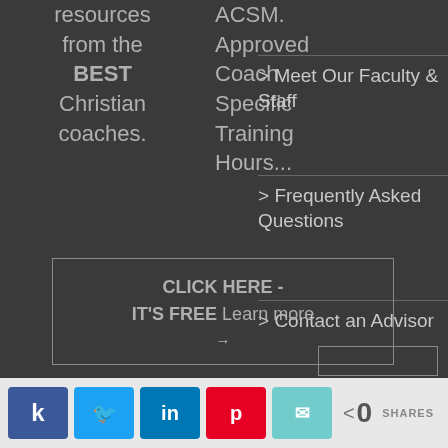resources from the BEST Christian coaches.
ACSM. Approved Coach Specific Training Hours...
CLICK HERE - IT'S FREE Learn more →
> Meet Our Faculty & Staff
> Frequently Asked Questions
> Contact an Advisor
0 SHARES